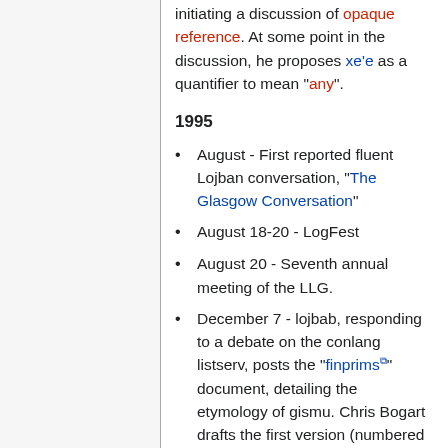initiating a discussion of opaque reference. At some point in the discussion, he proposes xe'e as a quantifier to mean "any".
1995
August - First reported fluent Lojban conversation, "The Glasgow Conversation"
August 18-20 - LogFest
August 20 - Seventh annual meeting of the LLG.
December 7 - lojbab, responding to a debate on the conlang listserv, posts the "finprims" document, detailing the etymology of gismu. Chris Bogart drafts the first version (numbered 0.5) of the Lojban list FAQ.
December 28 - xorxes and Jose Ramon Gallo Vazquez translate the